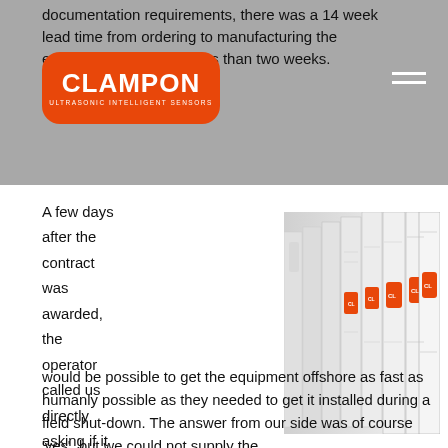documentation requirements, there was a 14 week lead time from ordering to manufacturing the equipment would take less than two weeks.
[Figure (logo): CLAMPON logo — orange rounded rectangle with white bold text CLAMPON and subtitle ULTRASONIC INTELLIGENT SENSORS]
A few days after the contract was awarded, the operator called us directly asking if it would be possible to get the equipment offshore as fast as humanly possible as they needed to get it installed during a field shut-down. The answer from our side was of course 'yes', but we could not supply the
[Figure (photo): Row of white binders/folders on a shelf, each bearing the orange CLAMPON logo label, photographed at an angle]